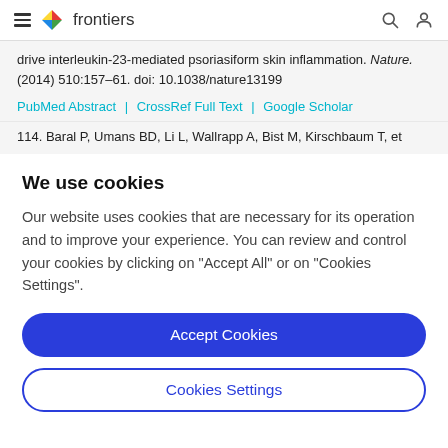frontiers
drive interleukin-23-mediated psoriasiform skin inflammation. Nature. (2014) 510:157–61. doi: 10.1038/nature13199
PubMed Abstract | CrossRef Full Text | Google Scholar
114. Baral P, Umans BD, Li L, Wallrapp A, Bist M, Kirschbaum T, et
We use cookies
Our website uses cookies that are necessary for its operation and to improve your experience. You can review and control your cookies by clicking on "Accept All" or on "Cookies Settings".
Accept Cookies
Cookies Settings